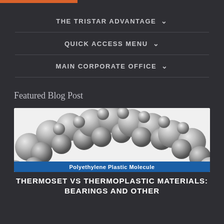THE TRISTAR ADVANTAGE
QUICK ACCESS MENU
MAIN CORPORATE OFFICE
Featured Blog Post
[Figure (photo): 3D molecular model of polyethylene plastic molecule — spherical atoms arranged in an arch shape, gray/white tones]
Polyethylene Plastic Molecule
THERMOSET VS THERMOPLASTIC MATERIALS: BEARINGS AND OTHER